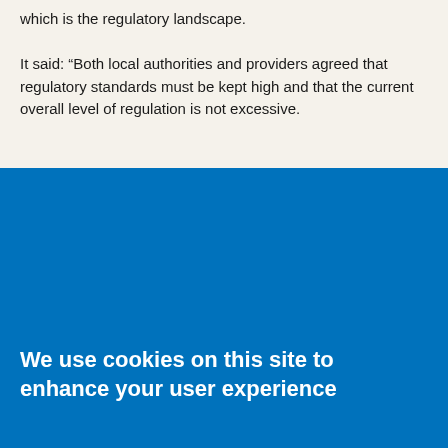which is the regulatory landscape.

It said: “Both local authorities and providers agreed that regulatory standards must be kept high and that the current overall level of regulation is not excessive.
We use cookies on this site to enhance your user experience
By clicking any link on this page you are giving your consent for us to set cookies.
No, give me more info
OK, I agree